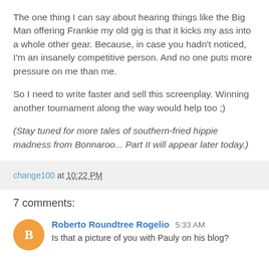The one thing I can say about hearing things like the Big Man offering Frankie my old gig is that it kicks my ass into a whole other gear. Because, in case you hadn't noticed, I'm an insanely competitive person. And no one puts more pressure on me than me.
So I need to write faster and sell this screenplay. Winning another tournament along the way would help too ;)
(Stay tuned for more tales of southern-fried hippie madness from Bonnaroo... Part II will appear later today.)
change100 at 10:22 PM
7 comments:
Roberto Roundtree Rogelio 5:33 AM
Is that a picture of you with Pauly on his blog?